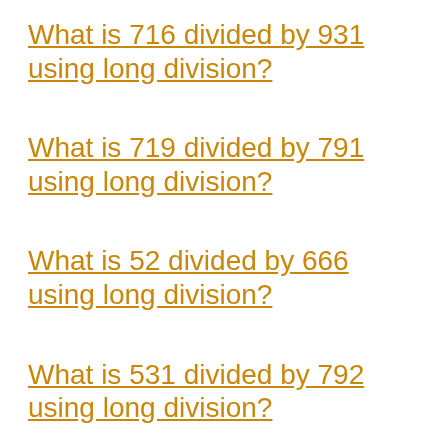What is 716 divided by 931 using long division?
What is 719 divided by 791 using long division?
What is 52 divided by 666 using long division?
What is 531 divided by 792 using long division?
What is 712 divided by 884 using long division?
What is 493 divided by 531 using long division?